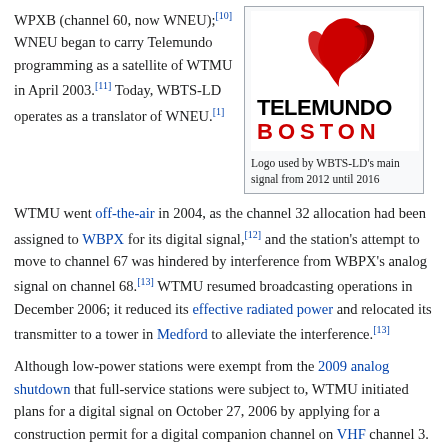WPXB (channel 60, now WNEU);[10] WNEU began to carry Telemundo programming as a satellite of WTMU in April 2003.[11] Today, WBTS-LD operates as a translator of WNEU.[1]
[Figure (logo): Telemundo Boston logo — red peacock-style graphic above the text TELEMUNDO in black and BOSTON in red, used by WBTS-LD's main signal from 2012 until 2016]
Logo used by WBTS-LD's main signal from 2012 until 2016
WTMU went off-the-air in 2004, as the channel 32 allocation had been assigned to WBPX for its digital signal,[12] and the station's attempt to move to channel 67 was hindered by interference from WBPX's analog signal on channel 68.[13] WTMU resumed broadcasting operations in December 2006; it reduced its effective radiated power and relocated its transmitter to a tower in Medford to alleviate the interference.[13]
Although low-power stations were exempt from the 2009 analog shutdown that full-service stations were subject to, WTMU initiated plans for a digital signal on October 27, 2006 by applying for a construction permit for a digital companion channel on VHF channel 3.[14] On August 28, 2008, WTMU changed its plans and